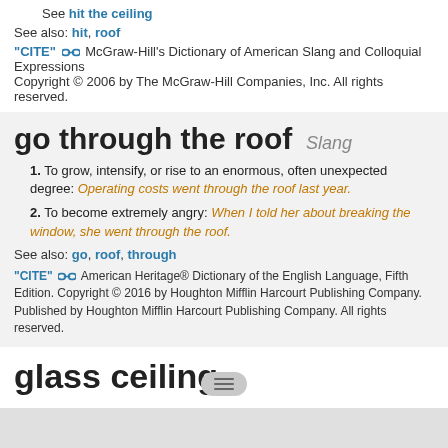See hit the ceiling
See also: hit, roof
"CITE" 🔗 McGraw-Hill's Dictionary of American Slang and Colloquial Expressions Copyright © 2006 by The McGraw-Hill Companies, Inc. All rights reserved.
go through the roof   Slang
1. To grow, intensify, or rise to an enormous, often unexpected degree: Operating costs went through the roof last year.
2. To become extremely angry: When I told her about breaking the window, she went through the roof.
See also: go, roof, through
"CITE" 🔗 American Heritage® Dictionary of the English Language, Fifth Edition. Copyright © 2016 by Houghton Mifflin Harcourt Publishing Company. Published by Houghton Mifflin Harcourt Publishing Company. All rights reserved.
glass ceiling